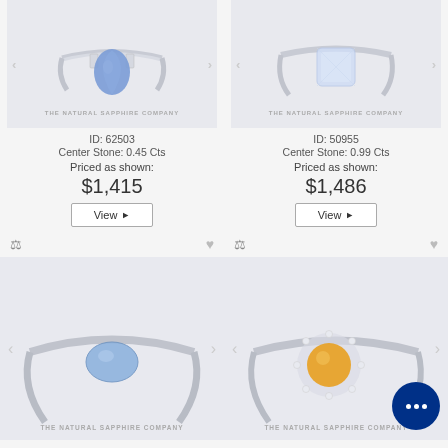[Figure (photo): Blue sapphire pear-cut ring in white metal setting on light gray background, The Natural Sapphire Company watermark]
ID: 62503
Center Stone: 0.45 Cts
Priced as shown:
$1,415
View ▶
[Figure (photo): Light blue cushion-cut sapphire ring in white metal setting on light gray background, The Natural Sapphire Company watermark]
ID: 50955
Center Stone: 0.99 Cts
Priced as shown:
$1,486
View ▶
[Figure (photo): Blue oval sapphire solitaire ring in white metal setting on light gray background, The Natural Sapphire Company watermark]
[Figure (photo): Yellow/orange round sapphire halo ring in white metal setting with diamond accents, chat bubble overlay]